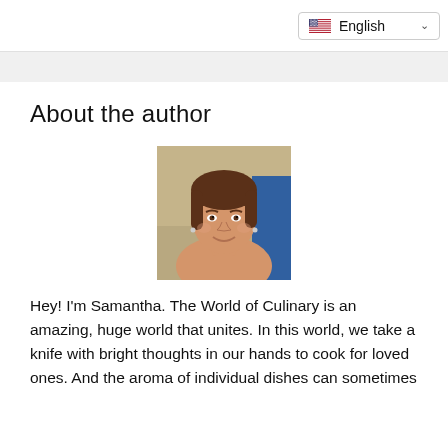English
About the author
[Figure (photo): Headshot of a woman with brown hair and bangs, smiling, wearing casual clothing, with a blue background.]
Hey! I'm Samantha. The World of Culinary is an amazing, huge world that unites. In this world, we take a knife with bright thoughts in our hands to cook for loved ones. And the aroma of individual dishes can sometimes